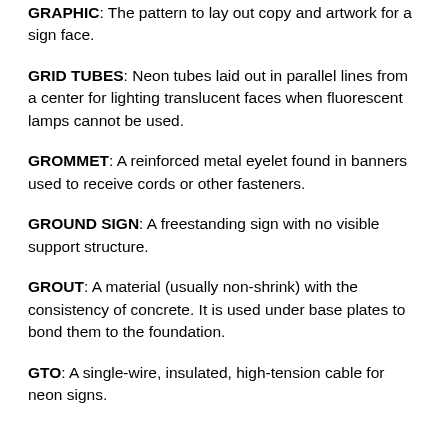GRAPHIC: The pattern to lay out copy and artwork for a sign face.
GRID TUBES: Neon tubes laid out in parallel lines from a center for lighting translucent faces when fluorescent lamps cannot be used.
GROMMET: A reinforced metal eyelet found in banners used to receive cords or other fasteners.
GROUND SIGN: A freestanding sign with no visible support structure.
GROUT: A material (usually non-shrink) with the consistency of concrete. It is used under base plates to bond them to the foundation.
GTO: A single-wire, insulated, high-tension cable for neon signs.